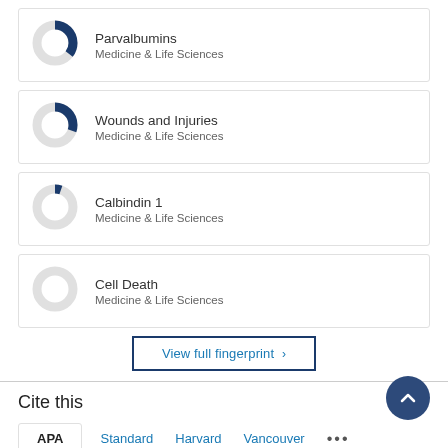[Figure (donut-chart): Partial donut chart for Parvalbumins, approximately 60% filled in dark blue]
Parvalbumins
Medicine & Life Sciences
[Figure (donut-chart): Partial donut chart for Wounds and Injuries, approximately 55% filled in dark blue]
Wounds and Injuries
Medicine & Life Sciences
[Figure (donut-chart): Partial donut chart for Calbindin 1, approximately 30% filled in dark blue]
Calbindin 1
Medicine & Life Sciences
[Figure (donut-chart): Partial donut chart for Cell Death, approximately 25% filled in dark blue]
Cell Death
Medicine & Life Sciences
View full fingerprint ›
Cite this
APA   Standard   Harvard   Vancouver   ...